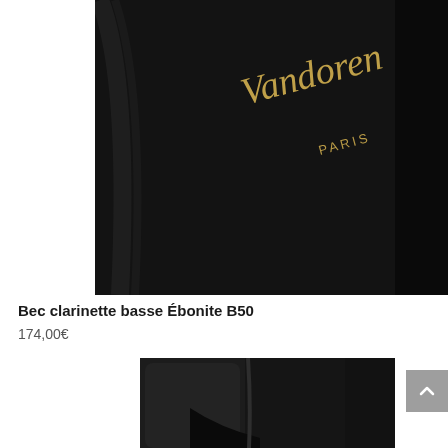[Figure (photo): Close-up photo of a black Vandoren Paris bass clarinet mouthpiece with gold script 'Vandoren PARIS' text on dark background]
Bec clarinette basse Ébonite B50
174,00€
[Figure (photo): Close-up detailed photo of a black ebonite bass clarinet mouthpiece showing the reed table and side profile]